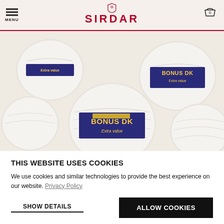MENU | SIRDAR | 0
[Figure (photo): Multiple white yarn balls with dark navy blue labels reading 'BONUS DK Extra value' in gold text, arranged on a cream/beige background.]
THIS WEBSITE USES COOKIES
We use cookies and similar technologies to provide the best experience on our website. Privacy Policy
SHOW DETAILS
ALLOW COOKIES